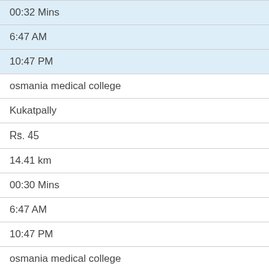| 00:32 Mins |
| 6:47 AM |
| 10:47 PM |
| osmania medical college |
| Kukatpally |
| Rs. 45 |
| 14.41 km |
| 00:30 Mins |
| 6:47 AM |
| 10:47 PM |
| osmania medical college |
| Balanagar |